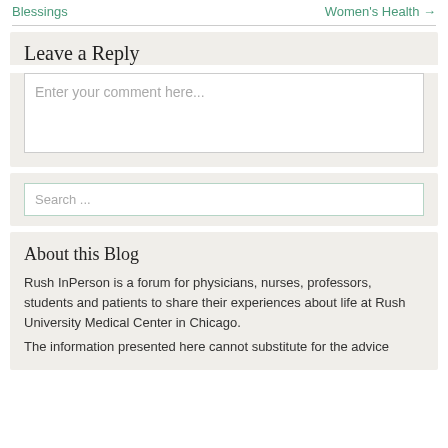Blessings   Women's Health →
Leave a Reply
Enter your comment here...
Search ...
About this Blog
Rush InPerson is a forum for physicians, nurses, professors, students and patients to share their experiences about life at Rush University Medical Center in Chicago.